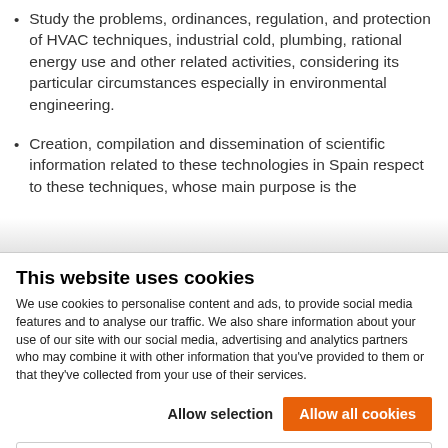Study the problems, ordinances, regulation, and protection of HVAC techniques, industrial cold, plumbing, rational energy use and other related activities, considering its particular circumstances especially in environmental engineering.
Creation, compilation and dissemination of scientific information related to these technologies in Spain respect to these techniques, whose main purpose is the
This website uses cookies
We use cookies to personalise content and ads, to provide social media features and to analyse our traffic. We also share information about your use of our site with our social media, advertising and analytics partners who may combine it with other information that you've provided to them or that they've collected from your use of their services.
Allow selection   Allow all cookies
Necessary   Preferences   Statistics   Marketing   Show details